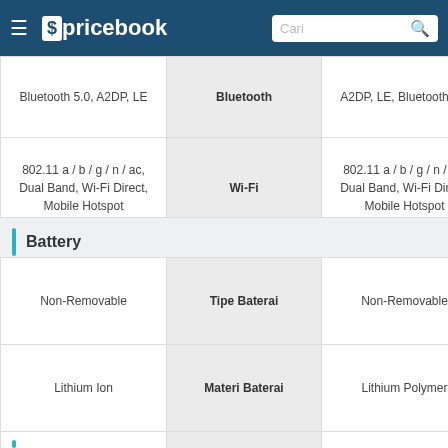pricebook — Cari
| Left Value | Label | Right Value |
| --- | --- | --- |
| Bluetooth 5.0, A2DP, LE | Bluetooth | A2DP, LE, Bluetooth 5.1 |
| 802.11 a / b / g / n / ac, Dual Band, Wi-Fi Direct, Mobile Hotspot | Wi-Fi | 802.11 a / b / g / n / ac, Dual Band, Wi-Fi Direct, Mobile Hotspot |
Battery
| Left Value | Label | Right Value |
| --- | --- | --- |
| Non-Removable | Tipe Baterai | Non-Removable |
| Lithium Ion | Materi Baterai | Lithium Polymer |
| 5000 mAh | Kapasitas Baterai | 5000 mAh |